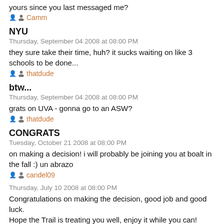yours since you last messaged me?
Camm
NYU
Thursday, September 04 2008 at 08:00 PM
they sure take their time, huh? it sucks waiting on like 3 schools to be done...
thatdude
btw...
Thursday, September 04 2008 at 08:00 PM
grats on UVA - gonna go to an ASW?
thatdude
CONGRATS
Tuesday, October 21 2008 at 08:00 PM
on making a decision! i will probably be joining you at boalt in the fall :) un abrazo
candel09
Thursday, July 10 2008 at 08:00 PM
Congratulations on making the decision, good job and good luck. Hope the Trail is treating you well, enjoy it while you can!